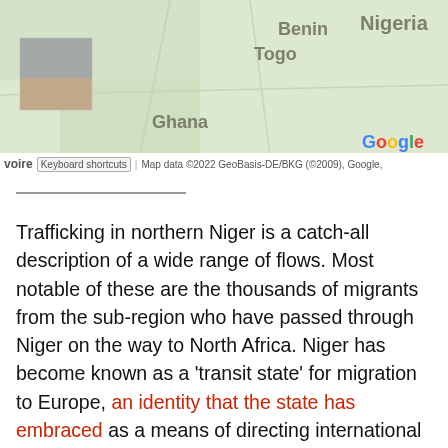[Figure (map): Google Maps screenshot showing West Africa region with country labels: Benin, Togo, Nigeria, Ghana visible. A small photo thumbnail is overlaid in the upper left area of the map.]
voire  Keyboard shortcuts  |  Map data ©2022 GeoBasis-DE/BKG (©2009), Google,
Trafficking in northern Niger is a catch-all description of a wide range of flows. Most notable of these are the thousands of migrants from the sub-region who have passed through Niger on the way to North Africa. Niger has become known as a 'transit state' for migration to Europe, an identity that the state has embraced as a means of directing international attention and resources to its security apparatus. The country has seen numerous seizures of drugs, including cocaine presumably headed north. The state understands